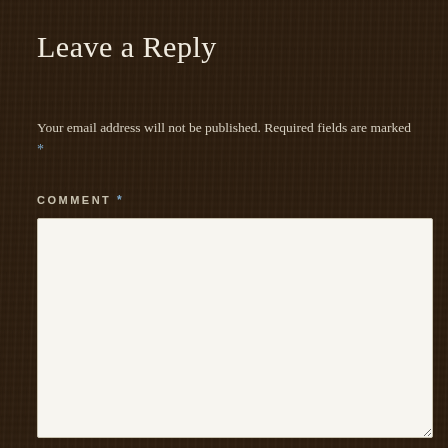Leave a Reply
Your email address will not be published. Required fields are marked *
COMMENT *
[Figure (other): Empty comment text area input field with light beige background]